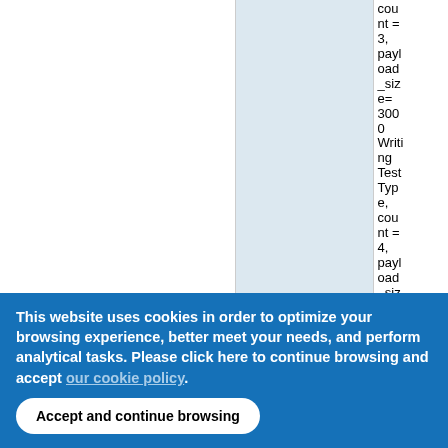|  |  | count = 3, payload_size= 3000 Writing Test Type, count = 4, payload_size= 4000 |
This website uses cookies in order to optimize your browsing experience, better meet your needs, and perform analytical tasks. Please click here to continue browsing and accept our cookie policy .
Accept and continue browsing